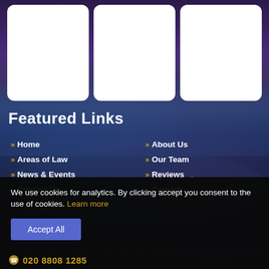[Figure (photo): Three white rounded rectangle cards over a city skyline background (London at dusk/night with bridges and river)]
Featured Links
» Home
» Areas of Law
» News & Events
» Contact Us
» About Us
» Our Team
» Reviews
» Careers
We use cookies for analytics. By clicking accept you consent to the use of cookies. Learn more
020 8808 1285